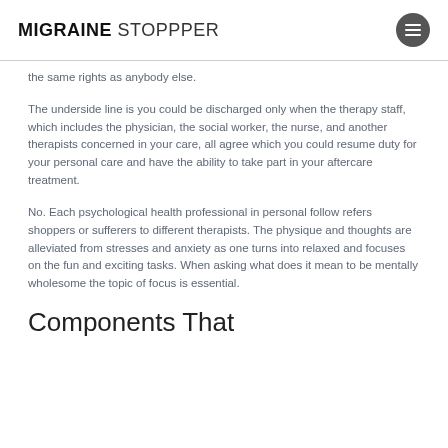MIGRAINE STOPPPER
the same rights as anybody else.
The underside line is you could be discharged only when the therapy staff, which includes the physician, the social worker, the nurse, and another therapists concerned in your care, all agree which you could resume duty for your personal care and have the ability to take part in your aftercare treatment.
No. Each psychological health professional in personal follow refers shoppers or sufferers to different therapists. The physique and thoughts are alleviated from stresses and anxiety as one turns into relaxed and focuses on the fun and exciting tasks. When asking what does it mean to be mentally wholesome the topic of focus is essential.
Components That